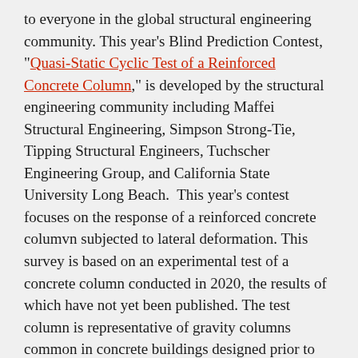to everyone in the global structural engineering community. This year's Blind Prediction Contest, "Quasi-Static Cyclic Test of a Reinforced Concrete Column," is developed by the structural engineering community including Maffei Structural Engineering, Simpson Strong-Tie, Tipping Structural Engineers, Tuchscher Engineering Group, and California State University Long Beach.  This year's contest focuses on the response of a reinforced concrete columvn subjected to lateral deformation. This survey is based on an experimental test of a concrete column conducted in 2020, the results of which have not yet been published. The test column is representative of gravity columns common in concrete buildings designed prior to the 1990s. The deadline for questions is August 19, and predictions are due by September 9. The results will be announced in September 2021.
PEER is also holding its Researchers' Workshop online